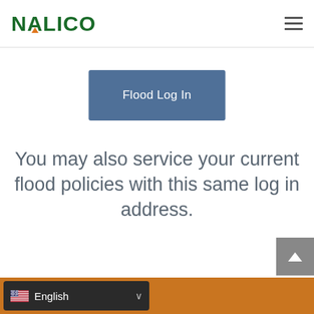NALICO
[Figure (screenshot): Flood Log In button — steel blue rounded rectangle button with white text 'Flood Log In']
You may also service your current flood policies with this same log in address.
English